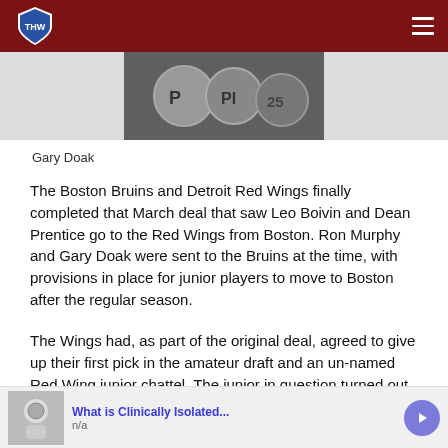THW (The Hockey Writers) navigation header
[Figure (photo): Black and white photo of hockey jersey numbers, partially visible, showing number 25]
Gary Doak
The Boston Bruins and Detroit Red Wings finally completed that March deal that saw Leo Boivin and Dean Prentice go to the Red Wings from Boston. Ron Murphy and Gary Doak were sent to the Bruins at the time, with provisions in place for junior players to move to Boston after the regular season.
The Wings had, as part of the original deal, agreed to give up their first pick in the amateur draft and an un-named Red Wing junior chattel. The junior in question turned out to be Hamilton Red Wing defenceman Bart Crashley. The player taken with
[Figure (advertisement): Ad banner: What is Clinically Isolated... n/a, with play button]